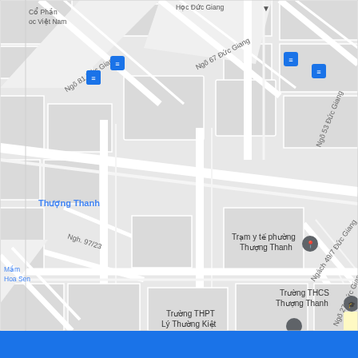[Figure (map): Google Maps screenshot showing street map of Đức Giang area, Long Biên, Hanoi, Vietnam. Shows streets including Ngõ 81 Đức Giang, Ngõ 67 Đức Giang, Ngõ 53 Đức Giang, Ngõ 27 Đức Giang, Ngách 49/7 Đức Giang, Ngh. 97/23. Landmarks include Trạm y tế phường Thượng Thanh, Trường THCS Thượng Thanh, Trường THPT Lý Thường Kiệt, and Cổ Phần Việt Nam. A red pin marks 105 Ngõ 53 Đức Giang - Trung Tâm Đăng Kiểm Đức Giang, Long Biên - Xe Cơ Giới Số 2905V. Bus stop icons visible at top area. Blue area label shows Thượng Thanh and Mầm non Hoa Sen.]